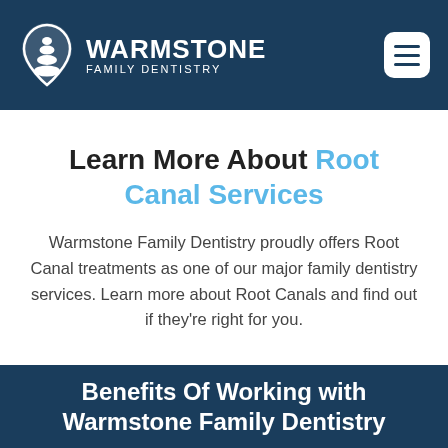[Figure (logo): Warmstone Family Dentistry logo with stacked stones icon and text in white on dark blue header background]
Learn More About Root Canal Services
Warmstone Family Dentistry proudly offers Root Canal treatments as one of our major family dentistry services. Learn more about Root Canals and find out if they're right for you.
Benefits Of Working with Warmstone Family Dentistry